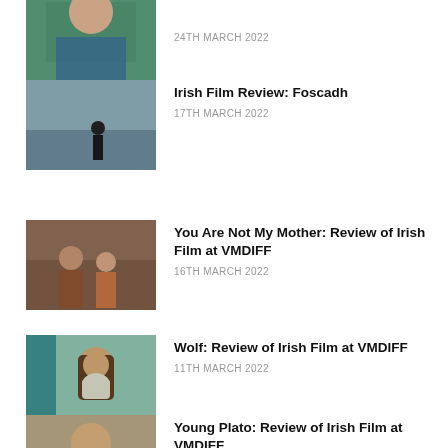[Figure (photo): Partially visible thumbnail of a woman at a desk, cut off at top]
24TH MARCH 2022
[Figure (photo): Thumbnail of a person standing near the sea/ocean, misty background]
Irish Film Review: Foscadh
17TH MARCH 2022
[Figure (photo): Thumbnail of people embracing indoors, warm tones]
You Are Not My Mother: Review of Irish Film at VMDIFF
16TH MARCH 2022
[Figure (photo): Thumbnail of a person with long hair and beard in teal-tinted room]
Wolf: Review of Irish Film at VMDIFF
11TH MARCH 2022
[Figure (photo): Partially visible thumbnail of a bald man, cut off at bottom]
Young Plato: Review of Irish Film at VMDIFF